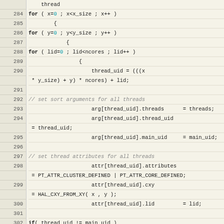[Figure (screenshot): Source code listing in monospace font with line numbers 284-308, showing C code with nested for loops, thread_uid assignments, argument setup, attribute setting, and pthread_create call. Line numbers on beige background on left, code on slightly lighter beige on right.]